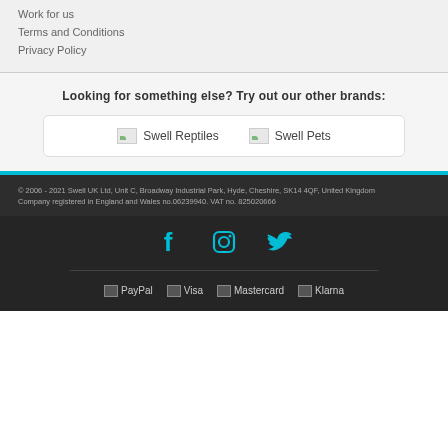Work for us
Terms and Conditions
Privacy Policy
Looking for something else? Try out our other brands:
[Figure (logo): Swell Reptiles brand logo with image placeholder]
[Figure (logo): Swell Pets brand logo with image placeholder]
© 2006 - 2021 Swell UK Ltd, Unit C, Broadway Industrial Park, Hyde, Cheshire, SK14 4QF, United Kingdom Company registered in England and Wales no.06239940. VAT no. 825020666
[Figure (infographic): Social media icons: Facebook, Instagram, Twitter in teal color]
[Figure (infographic): Payment method logos: PayPal, Visa, Mastercard, Klarna]